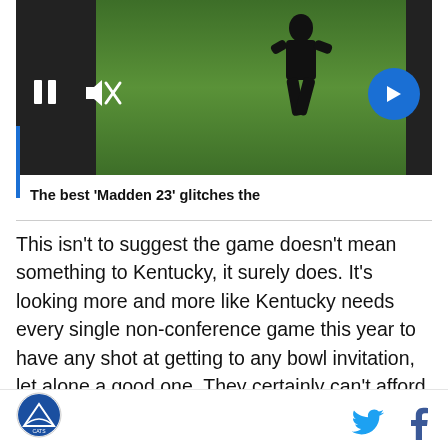[Figure (screenshot): Video player showing football game footage with pause button, mute button, and arrow navigation button. Field with player visible.]
The best 'Madden 23' glitches the
This isn't to suggest the game doesn't mean something to Kentucky, it surely does. It's looking more and more like Kentucky needs every single non-conference game this year to have any shot at getting to any bowl invitation, let alone a good one. They certainly can't afford to drop any games where they are the actual favorites.
Kentucky logo | Twitter icon | Facebook icon